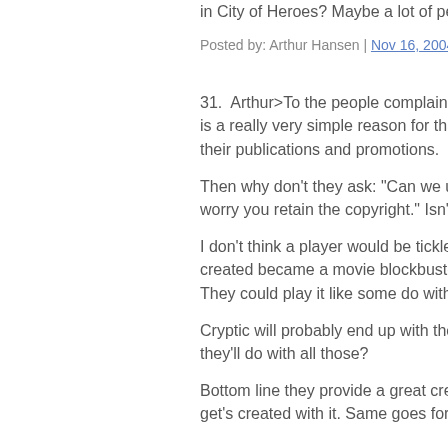in City of Heroes? Maybe a lot of people.
Posted by: Arthur Hansen | Nov 16, 2004 at 12:0...
31.  Arthur>To the people complaining ab... is a really very simple reason for that: The... their publications and promotions.
Then why don't they ask: "Can we use yo... worry you retain the copyright." Isn't that s...
I don't think a player would be tickled pink... created became a movie blockbuster and... They could play it like some do with subm...
Cryptic will probably end up with thousan... they'll do with all those?
Bottom line they provide a great creative t... get's created with it. Same goes for crayo...
matt> Well I'd agree that something like, "...
Not your first born child but the character...
Posted by: randal | Nov 16, 2004 at 16:08